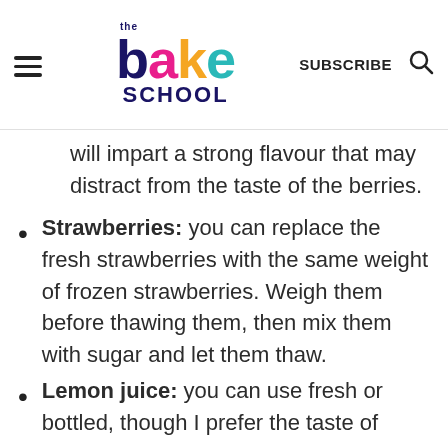The Bake School — SUBSCRIBE
will impart a strong flavour that may distract from the taste of the berries.
Strawberries: you can replace the fresh strawberries with the same weight of frozen strawberries. Weigh them before thawing them, then mix them with sugar and let them thaw.
Lemon juice: you can use fresh or bottled, though I prefer the taste of